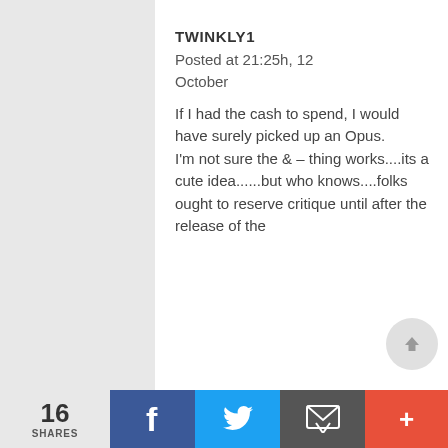TWINKLY1
Posted at 21:25h, 12 October
If I had the cash to spend, I would have surely picked up an Opus.
I'm not sure the & – thing works....its a cute idea......but who knows....folks ought to reserve critique until after the release of the
16 SHARES